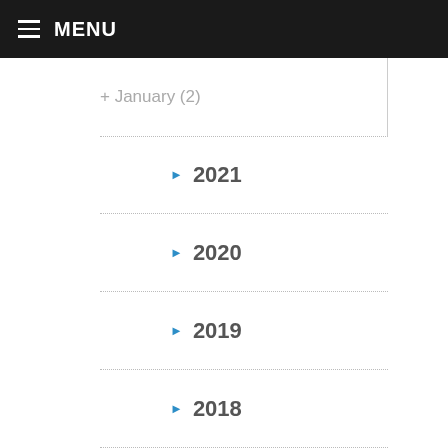MENU
+ January (2)
▶ 2021
▶ 2020
▶ 2019
▶ 2018
▶ 2017
▶ 2016
▶ 2015
▶ 2014